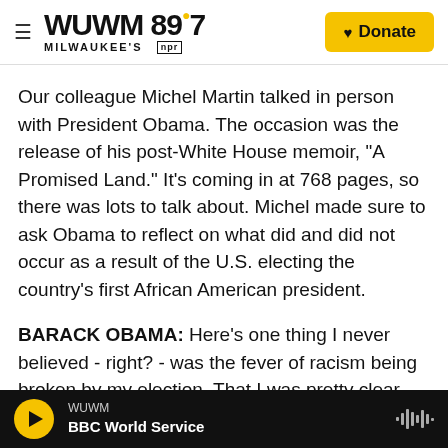WUWM 89.7 MILWAUKEE'S NPR — Donate
Our colleague Michel Martin talked in person with President Obama. The occasion was the release of his post-White House memoir, "A Promised Land." It's coming in at 768 pages, so there was lots to talk about. Michel made sure to ask Obama to reflect on what did and did not occur as a result of the U.S. electing the country's first African American president.
BARACK OBAMA: Here's one thing I never believed - right? - was the fever of racism being broken by my election. That I was pretty clear about. I never subscribed to the, we live in a post-racial era. But I
WUWM — BBC World Service